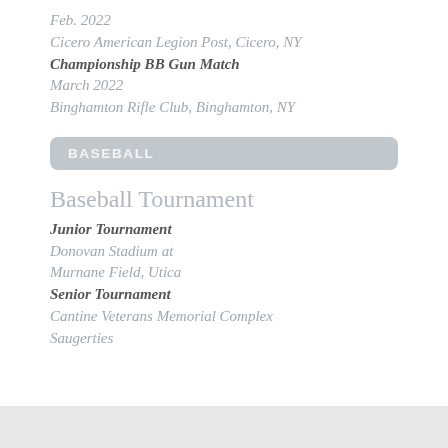Feb. 2022
Cicero American Legion Post, Cicero, NY
Championship BB Gun Match
March 2022
Binghamton Rifle Club, Binghamton, NY
BASEBALL
Baseball Tournament
Junior Tournament
Donovan Stadium at
Murnane Field, Utica
Senior Tournament
Cantine Veterans Memorial Complex
Saugerties